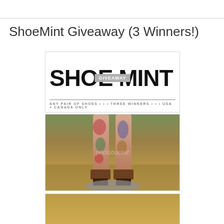ShoeMint Giveaway (3 Winners!)
[Figure (logo): ShoeMint logo with GIVEAWAY banner overlay. Large bold black text reads SHOE MINT. A gray banner across the middle reads GIVEAWAY. Below the logo text: ANY PAIR OF SHOES • • • THREE WINNERS • • • USA + CANADA ONLY]
[Figure (photo): Photo of tattooed legs wearing strappy platform heeled sandals, standing on a rock. Background is autumn leaves on the ground. Photobucket watermark visible.]
[Figure (photo): Partial photo showing autumn leaves background, bottom portion cut off.]